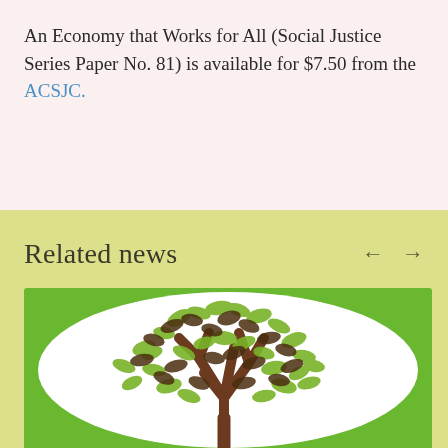An Economy that Works for All (Social Justice Series Paper No. 81) is available for $7.50 from the ACSJC.
Related news
[Figure (illustration): Stylized tree with green and brown leaves arranged in a circular canopy on a bright green background, inside a white oval frame.]